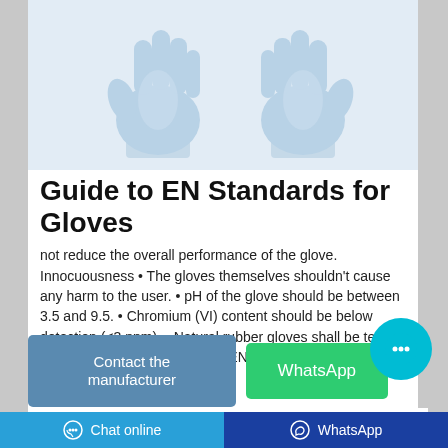[Figure (photo): Two light blue disposable gloves shown from above, side by side, against a light blue-gray background.]
Guide to EN Standards for Gloves
not reduce the overall performance of the glove. Innocuousness • The gloves themselves shouldn't cause any harm to the user. • pH of the glove should be between 3.5 and 9.5. • Chromium (VI) content should be below detection (<3 ppm). • Natural rubber gloves shall be tested on extractable proteins as per EN455-3. Standard EN420:2003
[Figure (screenshot): Contact the manufacturer button (steel blue) and WhatsApp button (green), with a teal chat bubble icon on the right.]
[Figure (screenshot): Partial next card showing a green glove thumbnail.]
Chat online   WhatsApp